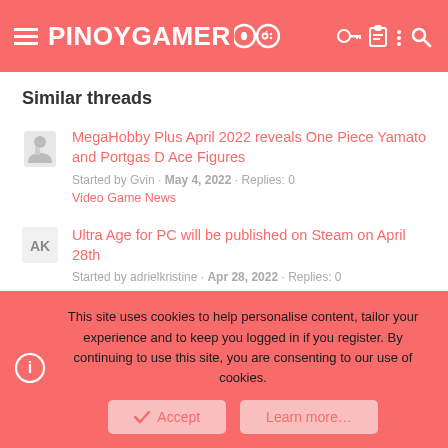PINOYGAMER+
Similar threads
MegaHobby Plus April 2022 reveals One Piece Yamato and Portgas D Ace Figures
Started by Gvin · May 4, 2022 · Replies: 0
Video Game News
Ultra Age for PC will be published on Steam on April 28th
Started by adrielkristine · Apr 28, 2022 · Replies: 0
This site uses cookies to help personalise content, tailor your experience and to keep you logged in if you register. By continuing to use this site, you are consenting to our use of cookies.